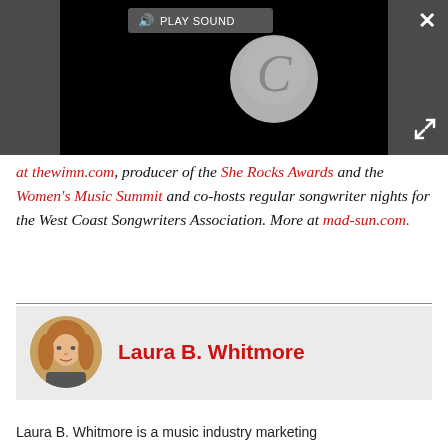[Figure (screenshot): Dark overlay with embedded video player showing a loading spinner (circular C icon) and a 'PLAY SOUND' button bar at top. Close (X) button top right and expand arrows bottom right.]
at thewimn.com, producer of the She Rocks Awards and the Women's Music Summit and co-hosts regular songwriter nights for the West Coast Songwriters Association. More at mad-sun.com.
Laura B. Whitmore
Laura B. Whitmore is a music industry marketing